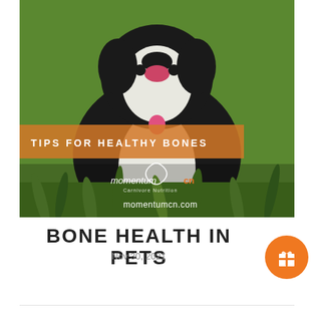[Figure (photo): Black and white dog sitting in green grass, mouth open and tongue visible, wearing a pink tag collar. Orange banner overlay reads TIPS FOR HEALTHY BONES with Momentum Carnivore Nutrition logo and momentumcn.com]
BONE HEALTH IN PETS
Nov 30, 2021